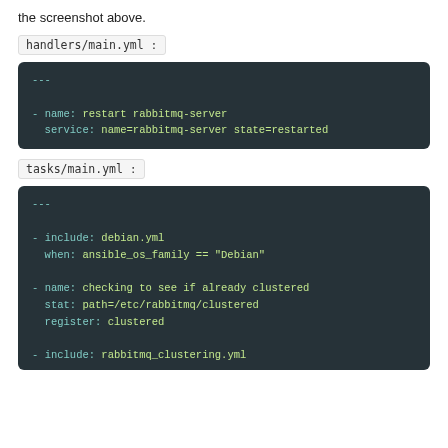the screenshot above.
handlers/main.yml :
[Figure (screenshot): Dark-themed code block showing handlers/main.yml YAML content with name: restart rabbitmq-server and service: name=rabbitmq-server state=restarted]
tasks/main.yml :
[Figure (screenshot): Dark-themed code block showing tasks/main.yml YAML content including include: debian.yml, when: ansible_os_family == 'Debian', name: checking to see if already clustered, stat: path=/etc/rabbitmq/clustered, register: clustered, include: rabbitmq_clustering.yml]